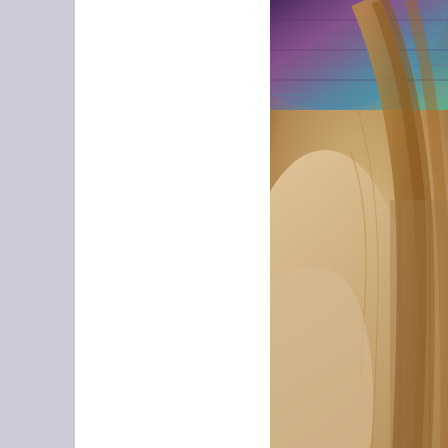[Figure (photo): Close-up photo of a mannequin or person wearing a colorful knitted hat (purple, teal, pink tones) with long reddish-brown hair visible, against a blurred background. The image is cropped showing mostly the shoulder/neck area and hat.]
Little Flicker Hat
size Adult Small/Medi...
The story behind this hat is simple: I've been hanging ont... FOREVER now and I finally pulled it out of the drawer t... on - I knew exactly what it wanted to be. And this fun-to-... either, but also unisex so you can make it for whomever y...